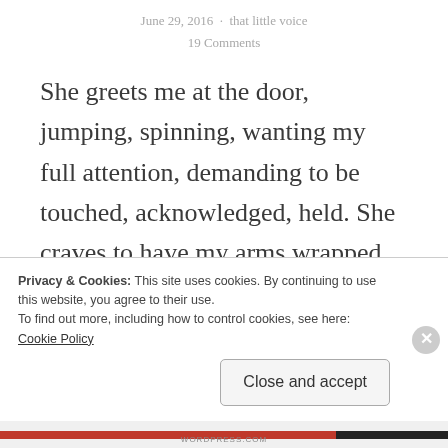June 29, 2016  ·  that little voice
19 Comments
She greets me at the door, jumping, spinning, wanting my full attention, demanding to be touched, acknowledged, held. She craves to have my arms wrapped around her in a loving embrace, holding her with tenderness and purpose. She dashes off
Privacy & Cookies: This site uses cookies. By continuing to use this website, you agree to their use.
To find out more, including how to control cookies, see here: Cookie Policy
Close and accept